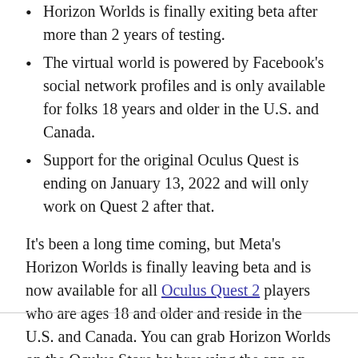Horizon Worlds is finally exiting beta after more than 2 years of testing.
The virtual world is powered by Facebook's social network profiles and is only available for folks 18 years and older in the U.S. and Canada.
Support for the original Oculus Quest is ending on January 13, 2022 and will only work on Quest 2 after that.
It's been a long time coming, but Meta's Horizon Worlds is finally leaving beta and is now available for all Oculus Quest 2 players who are ages 18 and older and reside in the U.S. and Canada. You can grab Horizon Worlds on the Oculus Store by browsing the app on your smartphone or downloading it directly from your Quest or Quest 2.